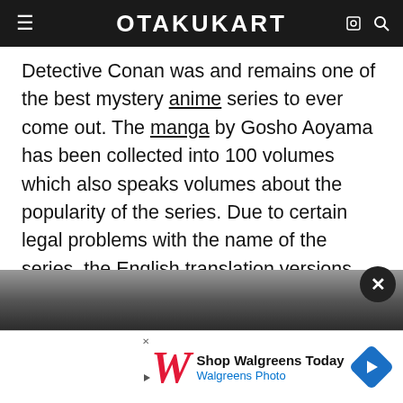OTAKUKART
Detective Conan was and remains one of the best mystery anime series to ever come out. The manga by Gosho Aoyama has been collected into 100 volumes which also speaks volumes about the popularity of the series. Due to certain legal problems with the name of the series, the English translation versions released by Viz Media and Funimation were named, “Case Closed”. Yomiuri Telecasting Corporation and TMS Entertainment picked up the manga for an anime adaptation, which premiered in January 1996. From this anime series, we got many more animated feature films, OVAs, video games, audio disc releases and live-action episodes.
[Figure (screenshot): Advertisement banner for Walgreens Photo with logo, 'Shop Walgreens Today' text, and blue navigation arrow icon]